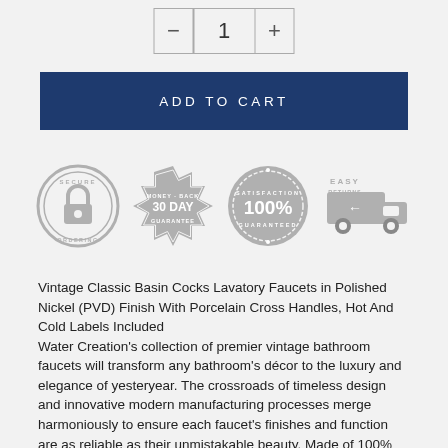[Figure (screenshot): Quantity selector with minus button, 1, and plus button in a bordered box]
[Figure (screenshot): ADD TO CART button in dark navy blue]
[Figure (infographic): Four trust badges: Secure Ordering (padlock), 30 Day Money-Back Guarantee, 100% Satisfaction Guaranteed, Easy Returns (truck)]
Vintage Classic Basin Cocks Lavatory Faucets in Polished Nickel (PVD) Finish With Porcelain Cross Handles, Hot And Cold Labels Included
Water Creation's collection of premier vintage bathroom faucets will transform any bathroom's décor to the luxury and elegance of yesteryear. The crossroads of timeless design and innovative modern manufacturing processes merge harmoniously to ensure each faucet's finishes and function are as reliable as their unmistakable beauty. Made of 100% brass.